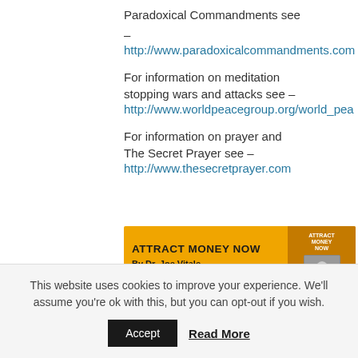Paradoxical Commandments see –
http://www.paradoxicalcommandments.com
For information on meditation stopping wars and attacks see –
http://www.worldpeacegroup.org/world_pea
For information on prayer and The Secret Prayer see –
http://www.thesecretprayer.com
[Figure (infographic): Orange advertisement banner for 'Attract Money Now' by Dr. Joe Vitale, with text 'Click Here to Read it FREE' and a book cover image on the right side.]
This website uses cookies to improve your experience. We'll assume you're ok with this, but you can opt-out if you wish.
Accept   Read More